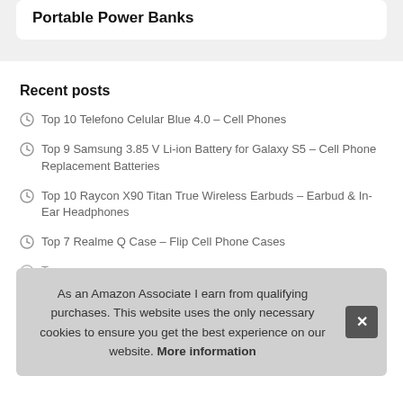Portable Power Banks
Recent posts
Top 10 Telefono Celular Blue 4.0 – Cell Phones
Top 9 Samsung 3.85 V Li-ion Battery for Galaxy S5 – Cell Phone Replacement Batteries
Top 10 Raycon X90 Titan True Wireless Earbuds – Earbud & In-Ear Headphones
Top 7 Realme Q Case – Flip Cell Phone Cases
T
T
T
Top 10 Quote Pop Socket for Iphone – Cell Phone Stands
As an Amazon Associate I earn from qualifying purchases. This website uses the only necessary cookies to ensure you get the best experience on our website. More information